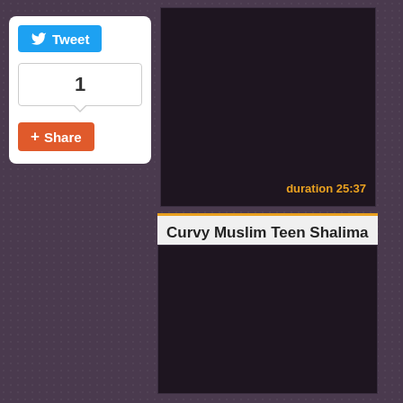[Figure (screenshot): Social share sidebar with Tweet button, count of 1, and Share button]
[Figure (screenshot): Dark video player area showing black/dark purple content with duration 25:37]
duration 25:37
Curvy Muslim Teen Shalimare Pickup and
[Figure (screenshot): Second dark video player area below the title]